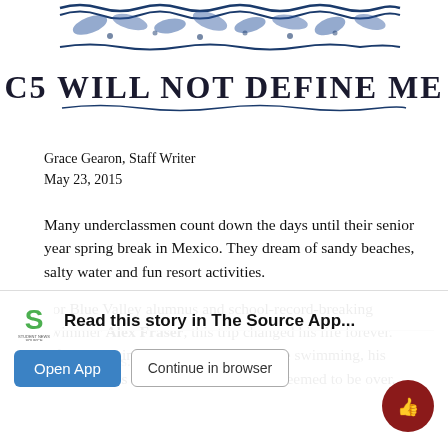[Figure (illustration): Decorative hand-drawn style illustration showing waves/floral motifs at top with text 'C5 WILL NOT DEFINE ME' in bold block letters below the decorative border]
Grace Gearon, Staff Writer
May 23, 2015
Many underclassmen count down the days until their senior year spring break in Mexico. They dream of sandy beaches, salty water and fun resort activities.
For Blue Valley alumnus and school-record-breaking swimmer Alex Fraser, this trip changed his life forever. After damaging his C-5 vertebrae while swimming, his dreams of his big life with swimming seemed to be over.
However this...
[Figure (infographic): App download overlay banner with Student News Source logo (green S), bold text 'Read this story in The Source App...', and two buttons: blue 'Open App' and white/grey outlined 'Continue in browser']
[Figure (illustration): Dark red circular thumbs-up icon button in bottom right corner]